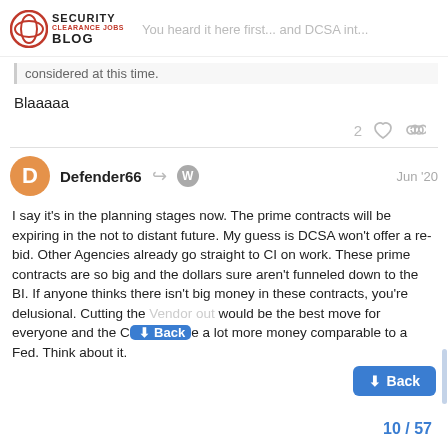Security Clearance Jobs Blog — You heard it here first... and DCSA int...
considered at this time.
Blaaaaa
2 ♡ 🔗
Defender66  Jun '20
I say it's in the planning stages now. The prime contracts will be expiring in the not to distant future. My guess is DCSA won't offer a re-bid. Other Agencies already go straight to CI on work. These prime contracts are so big and the dollars sure aren't funneled down to the BI. If anyone thinks there isn't big money in these contracts, you're delusional. Cutting the Vendor out would be the best move for everyone and the C[...] a lot more money comparable to a Fed. Think about it.
10 / 57